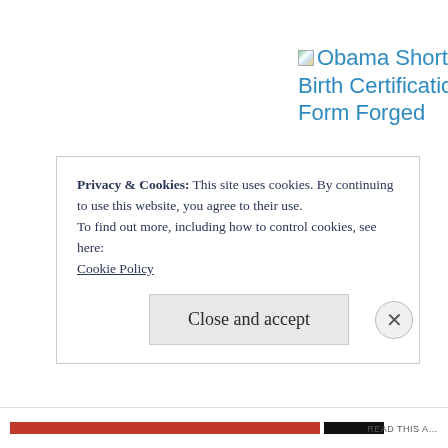[Figure (other): Broken image icon followed by link text reading 'Obama Short-Form Birth Certification Form Forged' in blue hyperlink style]
Privacy & Cookies: This site uses cookies. By continuing to use this website, you agree to their use.
To find out more, including how to control cookies, see here:
Cookie Policy
Close and accept